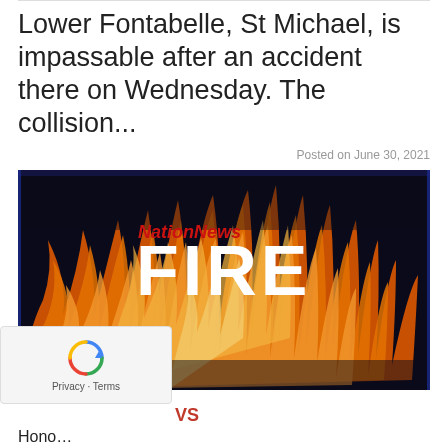Lower Fontabelle, St Michael, is impassable after an accident there on Wednesday. The collision...
Posted on June 30, 2021
[Figure (photo): NationNews FIRE branding image — large white text 'FIRE' overlaid on a dark background with flames, with red 'NationNews' logo text above]
VS
Privacy · Terms